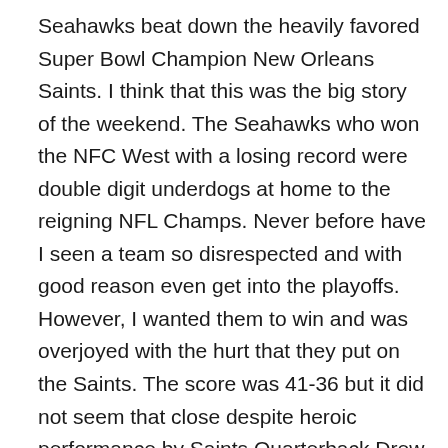Seahawks beat down the heavily favored Super Bowl Champion New Orleans Saints. I think that this was the big story of the weekend. The Seahawks who won the NFC West with a losing record were double digit underdogs at home to the reigning NFL Champs. Never before have I seen a team so disrespected and with good reason even get into the playoffs. However, I wanted them to win and was overjoyed with the hurt that they put on the Saints. The score was 41-36 but it did not seem that close despite heroic performance by Saints Quarterback Drew Brees.  The Seahawks were 10 point underdogs at home facing the defending Super Bowl Champions and they pulled the biggest post season upset that we have seen for some time. Final score Seahawks 41 Saints 36.  I love an upset.  The lowly Seahawks who have nothing to prove will travel to Chicago to play Da-Bears in the Divisional